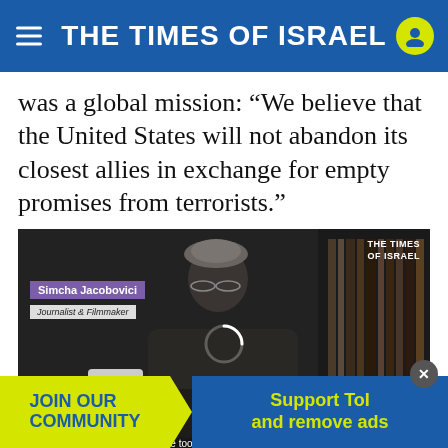THE TIMES OF ISRAEL
was a global mission: “We believe that the United States will not abandon its closest allies in exchange for empty promises from terrorists.”
[Figure (screenshot): Video still showing Simcha Jacobovici, Journalist & Filmmaker, with subtitle 'I brought the tools of an investigative journalist,' and The Times of Israel watermark. A loading spinner is visible in the center.]
“The h[ezboll]ah in Leban[on who] re the